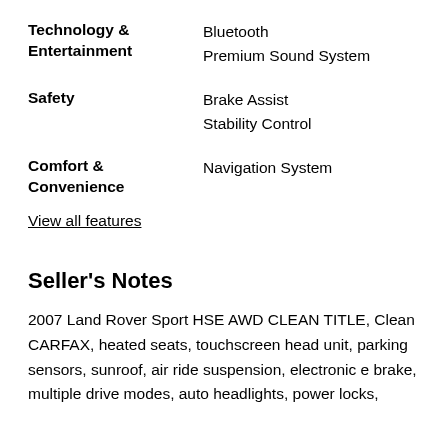Technology & Entertainment: Bluetooth, Premium Sound System
Safety: Brake Assist, Stability Control
Comfort & Convenience: Navigation System
View all features
Seller's Notes
2007 Land Rover Sport HSE AWD CLEAN TITLE, Clean CARFAX, heated seats, touchscreen head unit, parking sensors, sunroof, air ride suspension, electronic e brake, multiple drive modes, auto headlights, power locks,